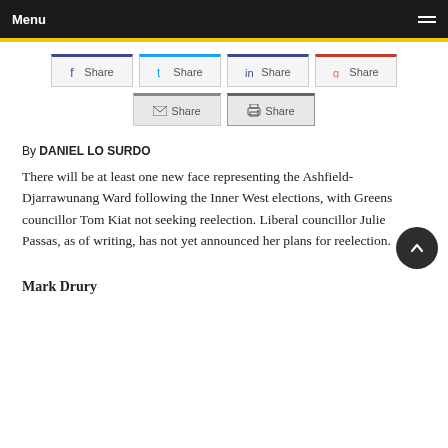Menu
[Figure (screenshot): Row of social share buttons: Facebook Share, Twitter Share, LinkedIn Share, Google+ Share, Email Share, Print Share]
By DANIEL LO SURDO
There will be at least one new face representing the Ashfield-Djarrawunang Ward following the Inner West elections, with Greens councillor Tom Kiat not seeking reelection. Liberal councillor Julie Passas, as of writing, has not yet announced her plans for reelection.
Mark Drury